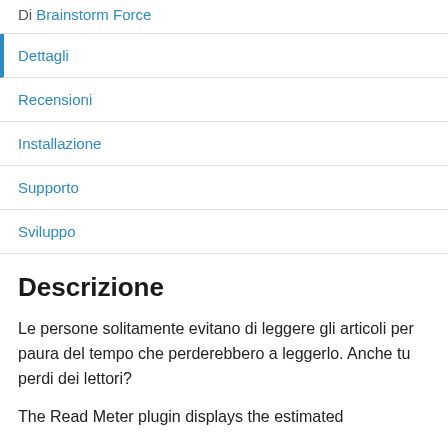Di Brainstorm Force
Dettagli
Recensioni
Installazione
Supporto
Sviluppo
Descrizione
Le persone solitamente evitano di leggere gli articoli per paura del tempo che perderebbero a leggerlo. Anche tu perdi dei lettori?
The Read Meter plugin displays the estimated